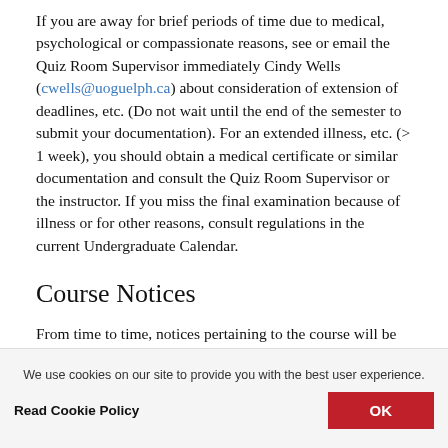If you are away for brief periods of time due to medical, psychological or compassionate reasons, see or email the Quiz Room Supervisor immediately Cindy Wells (cwells@uoguelph.ca) about consideration of extension of deadlines, etc. (Do not wait until the end of the semester to submit your documentation). For an extended illness, etc. (> 1 week), you should obtain a medical certificate or similar documentation and consult the Quiz Room Supervisor or the instructor. If you miss the final examination because of illness or for other reasons, consult regulations in the current Undergraduate Calendar.
Course Notices
From time to time, notices pertaining to the course will be posted on Courselink, given in lectures and/or posted by the Quiz Room door or inside the quiz room (SSC1101A). You
We use cookies on our site to provide you with the best user experience.
Read Cookie Policy
OK